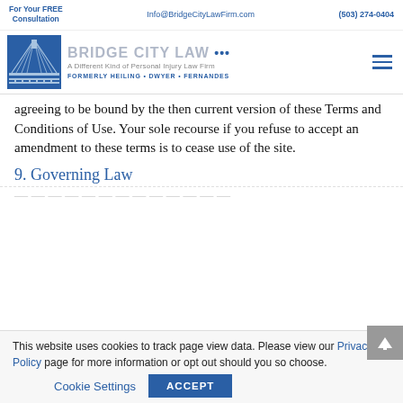For Your FREE Consultation | Info@BridgeCityLawFirm.com | (503) 274-0404
[Figure (logo): Bridge City Law logo with bridge illustration and text: BRIDGE CITY LAW, A Different Kind of Personal Injury Law Firm, FORMERLY HEILING • DWYER • FERNANDES]
agreeing to be bound by the then current version of these Terms and Conditions of Use. Your sole recourse if you refuse to accept an amendment to these terms is to cease use of the site.
9. Governing Law
This website uses cookies to track page view data. Please view our Privacy Policy page for more information or opt out should you so choose.
Cookie Settings   ACCEPT